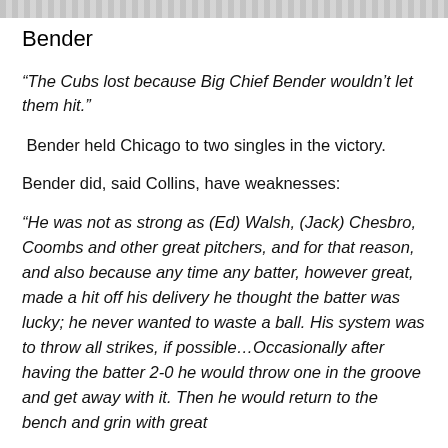[Figure (other): Decorative striped bar at top of page]
Bender
“The Cubs lost because Big Chief Bender wouldn’t let them hit.”
Bender held Chicago to two singles in the victory.
Bender did, said Collins, have weaknesses:
“He was not as strong as (Ed) Walsh, (Jack) Chesbro, Coombs and other great pitchers, and for that reason, and also because any time any batter, however great, made a hit off his delivery he thought the batter was lucky; he never wanted to waste a ball. His system was to throw all strikes, if possible…Occasionally after having the batter 2-0 he would throw one in the groove and get away with it. Then he would return to the bench and grin with great